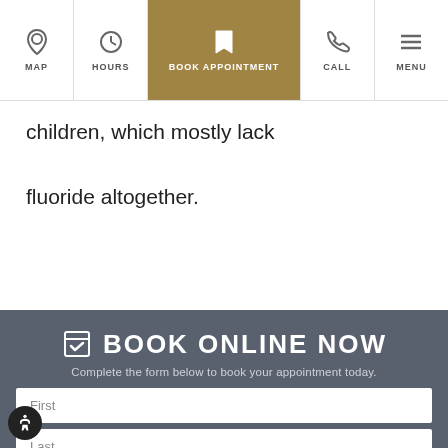[Figure (screenshot): Navigation bar with MAP, HOURS, BOOK APPOINTMENT (active/highlighted in gold), CALL, and MENU icons]
children, which mostly lack

fluoride altogether.
BOOK ONLINE NOW
Complete the form below to book your appointment today.
First
Last
Birthday
Email address